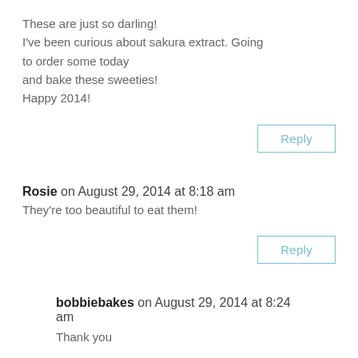These are just so darling!
I've been curious about sakura extract. Going to order some today
and bake these sweeties!
Happy 2014!
Reply
Rosie on August 29, 2014 at 8:18 am
They're too beautiful to eat them!
Reply
bobbiebakes on August 29, 2014 at 8:24 am
Thank you
Reply